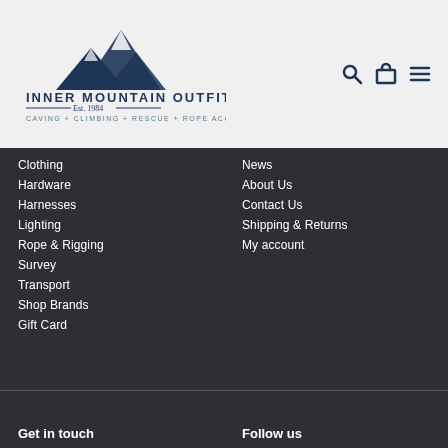[Figure (logo): Inner Mountain Outfitters logo with mountain peaks icon. Text reads: INNER MOUNTAIN OUTFITTERS, Est. 1984, CAVING + CLIMBING + RESCUE + ROPE ACCESS]
Clothing
Hardware
Harnesses
Lighting
Rope & Rigging
Survey
Transport
Shop Brands
Gift Card
News
About Us
Contact Us
Shipping & Returns
My account
Get in touch
Follow us